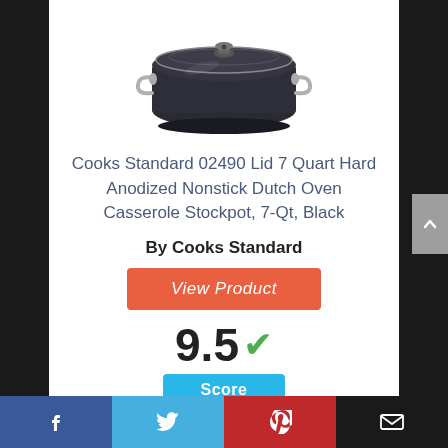[Figure (photo): A black hard anodized nonstick Dutch oven / casserole stockpot with a glass lid and two silver handles, viewed from a slightly elevated angle.]
Cooks Standard 02490 Lid 7 Quart Hard Anodized Nonstick Dutch Oven Casserole Stockpot, 7-Qt, Black
By Cooks Standard
View Product
9.5 ✓
Score
Facebook  Twitter  Pinterest  Mail